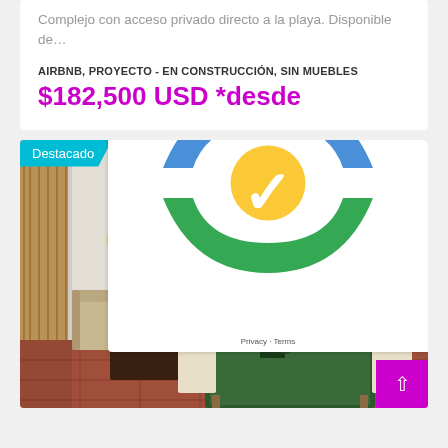Complejo con acceso privado directo a la playa. Disponible de…
AIRBNB, PROYECTO - EN CONSTRUCCIÓN, SIN MUEBLES
$182,500 USD *desde
[Figure (photo): Interior photo of a furnished living/dining room with tile floors, dining table with green tablecloth and wooden chairs, sofa, curtains, and a dark wooden door. Has a 'Destacado' badge and reCAPTCHA overlay.]